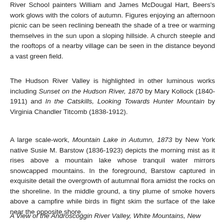River School painters William and James McDougal Hart, Beers's work glows with the colors of autumn. Figures enjoying an afternoon picnic can be seen reclining beneath the shade of a tree or warming themselves in the sun upon a sloping hillside. A church steeple and the rooftops of a nearby village can be seen in the distance beyond a vast green field.
The Hudson River Valley is highlighted in other luminous works including Sunset on the Hudson River, 1870 by Mary Kollock (1840-1911) and In the Catskills, Looking Towards Hunter Mountain by Virginia Chandler Titcomb (1838-1912).
A large scale-work, Mountain Lake in Autumn, 1873 by New York native Susie M. Barstow (1836-1923) depicts the morning mist as it rises above a mountain lake whose tranquil water mirrors snowcapped mountains. In the foreground, Barstow captured in exquisite detail the overgrowth of autumnal flora amidst the rocks on the shoreline. In the middle ground, a tiny plume of smoke hovers above a campfire while birds in flight skim the surface of the lake near the opposite shore.
A View of the Androscoggin River Valley, White Mountains, New